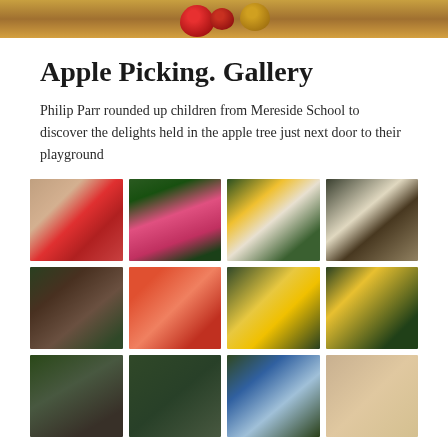[Figure (photo): Hero banner photo showing apples on wooden surface]
Apple Picking. Gallery
Philip Parr rounded up children from Mereside School to discover the delights held in the apple tree just next door to their playground
[Figure (photo): Grid of 12 thumbnail photos showing children apple picking at Mereside School]
[Figure (photo): Apples on wooden surface]
[Figure (photo): Child in pink coat with apples]
[Figure (photo): Children in hi-vis vests with adult]
[Figure (photo): Adult with children in hi-vis vests]
[Figure (photo): Child and adult with apple among greenery]
[Figure (photo): Hands holding red apples]
[Figure (photo): Child looking up at apple tree]
[Figure (photo): Group of children in hi-vis vests at tree]
[Figure (photo): Adult and children picking apples]
[Figure (photo): Children at apple tree]
[Figure (photo): Children with apples outdoors]
[Figure (photo): Close up of child's face]